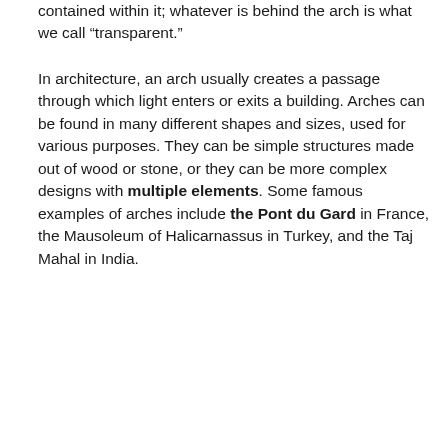contained within it; whatever is behind the arch is what we call "transparent."
In architecture, an arch usually creates a passage through which light enters or exits a building. Arches can be found in many different shapes and sizes, used for various purposes. They can be simple structures made out of wood or stone, or they can be more complex designs with multiple elements. Some famous examples of arches include the Pont du Gard in France, the Mausoleum of Halicarnassus in Turkey, and the Taj Mahal in India.